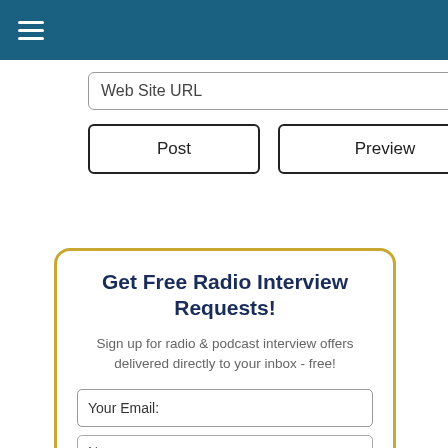≡ (hamburger menu icon)
Web Site URL (input field)
Post  Preview (buttons)
Get Free Radio Interview Requests!
Sign up for radio & podcast interview offers delivered directly to your inbox - free!
Your Email: (input field)
Name: (input field)